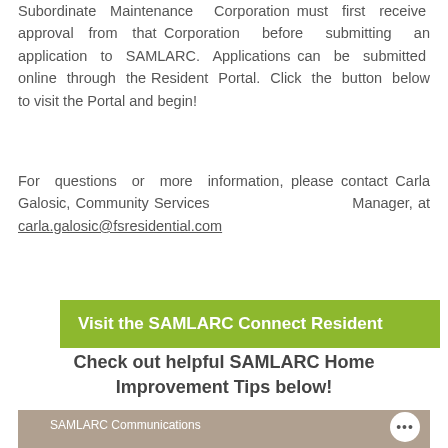Subordinate Maintenance Corporation must first receive approval from that Corporation before submitting an application to SAMLARC. Applications can be submitted online through the Resident Portal. Click the button below to visit the Portal and begin!
For questions or more information, please contact Carla Galosic, Community Services Manager, at carla.galosic@fsresidential.com
[Figure (other): Green button/banner reading 'Visit the SAMLARC Connect Resident']
Check out helpful SAMLARC Home Improvement Tips below!
[Figure (photo): Photo of a house exterior with SAMLARC Communications label and a white circle button with three dots]